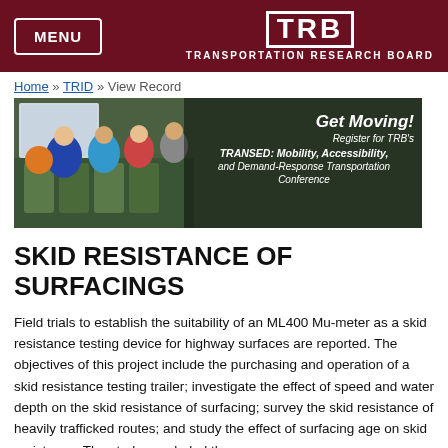MENU | TRB TRANSPORTATION RESEARCH BOARD
Home » TRID » View Record
[Figure (photo): Banner photo of group of people at a conference with text overlay: 'Get Moving! Register for TRB's TRANSED: Mobility, Accessibility, and Demand-Response Transportation Conference']
SKID RESISTANCE OF SURFACINGS
Field trials to establish the suitability of an ML400 Mu-meter as a skid resistance testing device for highway surfaces are reported. The objectives of this project include the purchasing and operation of a skid resistance testing trailer; investigate the effect of speed and water depth on the skid resistance of surfacing; survey the skid resistance of heavily trafficked routes; and study the effect of surfacing age on skid resistance. The study concluded the